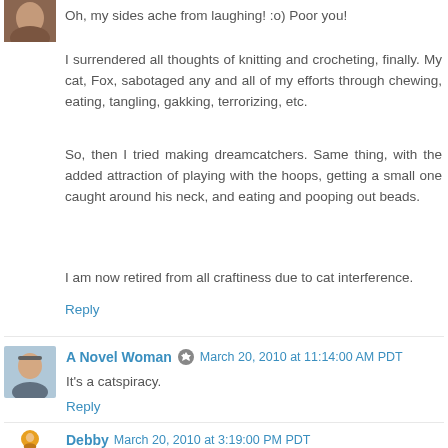Oh, my sides ache from laughing! :o) Poor you!
I surrendered all thoughts of knitting and crocheting, finally. My cat, Fox, sabotaged any and all of my efforts through chewing, eating, tangling, gakking, terrorizing, etc.
So, then I tried making dreamcatchers. Same thing, with the added attraction of playing with the hoops, getting a small one caught around his neck, and eating and pooping out beads.
I am now retired from all craftiness due to cat interference.
Reply
A Novel Woman  March 20, 2010 at 11:14:00 AM PDT
It's a catspiracy.
Reply
Debby  March 20, 2010 at 3:19:00 PM PDT